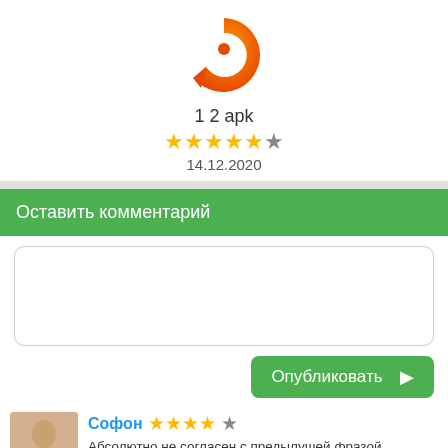[Figure (logo): Orange circular app logo with spiral/ring design and central dot, on white background]
1 2 apk
★★★★★☆ 14.12.2020
Оставить комментарий
[text input area]
Опубликовать ➤
[Figure (photo): User avatar thumbnail photo]
Софон ★★★★☆
Абсолютно не согласен с предылущей фразой